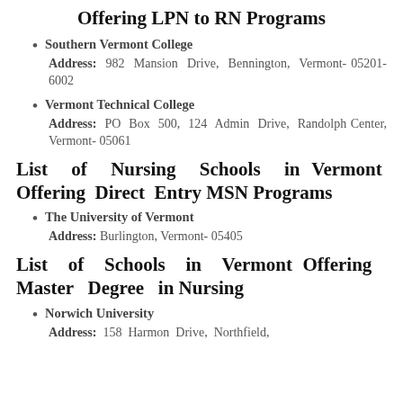Offering LPN to RN Programs
Southern Vermont College
Address: 982 Mansion Drive, Bennington, Vermont- 05201-6002
Vermont Technical College
Address: PO Box 500, 124 Admin Drive, Randolph Center, Vermont- 05061
List of Nursing Schools in Vermont Offering Direct Entry MSN Programs
The University of Vermont
Address: Burlington, Vermont- 05405
List of Schools in Vermont Offering Master Degree in Nursing
Norwich University
Address: 158 Harmon Drive, Northfield,